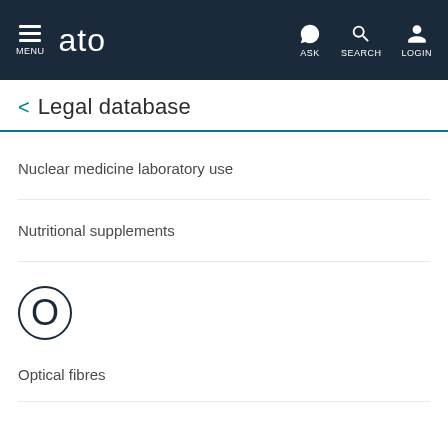MENU  ato  ASK  SEARCH  LOGIN
Legal database
Nuclear medicine laboratory use
Nutritional supplements
O
Optical fibres